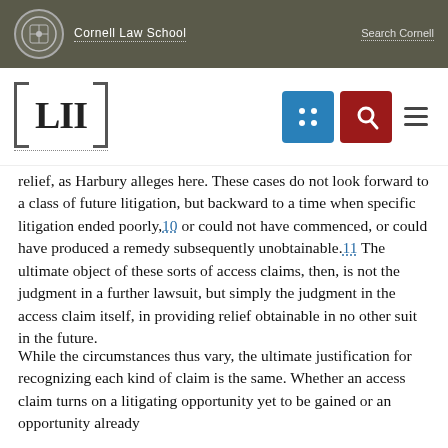Cornell Law School — LII — Search Cornell
relief, as Harbury alleges here. These cases do not look forward to a class of future litigation, but backward to a time when specific litigation ended poorly,10 or could not have commenced, or could have produced a remedy subsequently unobtainable.11 The ultimate object of these sorts of access claims, then, is not the judgment in a further lawsuit, but simply the judgment in the access claim itself, in providing relief obtainable in no other suit in the future.
While the circumstances thus vary, the ultimate justification for recognizing each kind of claim is the same. Whether an access claim turns on a litigating opportunity yet to be gained or an opportunity already